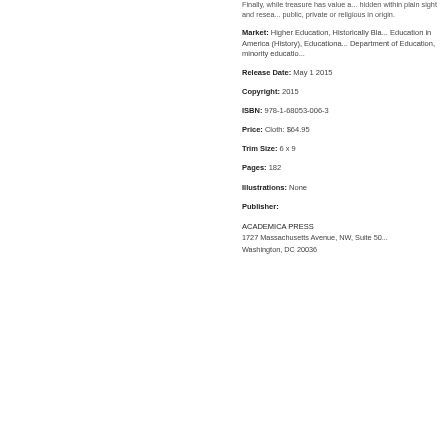Finally, while treasure has value and is hidden within plain sight and research, public, private or religious in origin.
Market: Higher Education, Historically Bla... Education in America (History), Educational... Department of Education, minority educatio...
Release Date: May 1 2015
Copyright: 2015
ISBN: 978-1-68053-006-3
Price: Cloth: $64.95
Trim Size: 6 x 9
Pages: 182
Illustrations: None
Publisher:
ACADEMICA PRESS
1727 Massachusetts Avenue, NW, Suite 50...
Washington, DC 20036